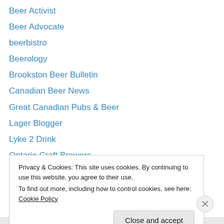Beer Activist
Beer Advocate
beerbistro
Beerology
Brookston Beer Bulletin
Canadian Beer News
Great Canadian Pubs & Beer
Lager Blogger
Lyke 2 Drink
Ontario Craft Brewers
Rate Beer
Really Simple Beer Syndication
Seen Through A Glass
Privacy & Cookies: This site uses cookies. By continuing to use this website, you agree to their use. To find out more, including how to control cookies, see here: Cookie Policy
Close and accept